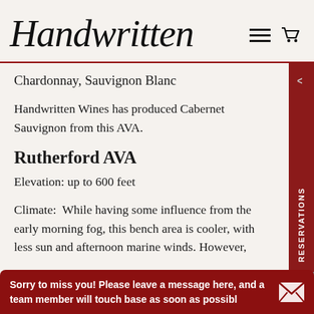Handwritten
Chardonnay, Sauvignon Blanc
Handwritten Wines has produced Cabernet Sauvignon from this AVA.
Rutherford AVA
Elevation: up to 600 feet
Climate:  While having some influence from the early morning fog, this bench area is cooler, with less sun and afternoon marine winds. However,
Sorry to miss you! Please leave a message here, and a team member will touch base as soon as possibl